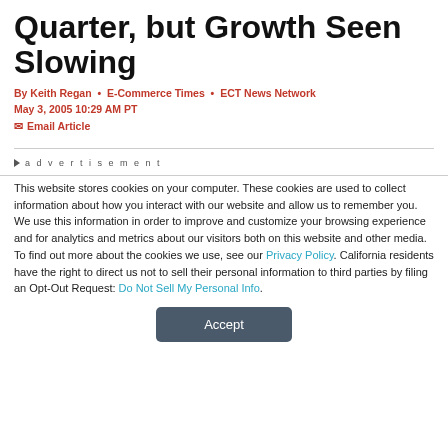Quarter, but Growth Seen Slowing
By Keith Regan • E-Commerce Times • ECT News Network
May 3, 2005 10:29 AM PT
✉ Email Article
advertisement
This website stores cookies on your computer. These cookies are used to collect information about how you interact with our website and allow us to remember you. We use this information in order to improve and customize your browsing experience and for analytics and metrics about our visitors both on this website and other media. To find out more about the cookies we use, see our Privacy Policy. California residents have the right to direct us not to sell their personal information to third parties by filing an Opt-Out Request: Do Not Sell My Personal Info.
Accept